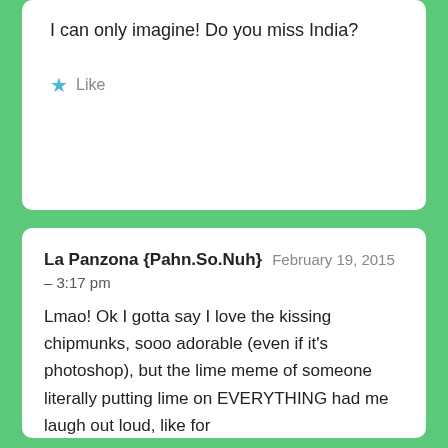I can only imagine! Do you miss India?
★ Like
La Panzona {Pahn.So.Nuh}  February 19, 2015
– 3:17 pm
Lmao! Ok I gotta say I love the kissing chipmunks, sooo adorable (even if it's photoshop), but the lime meme of someone literally putting lime on EVERYTHING had me laugh out loud, like for